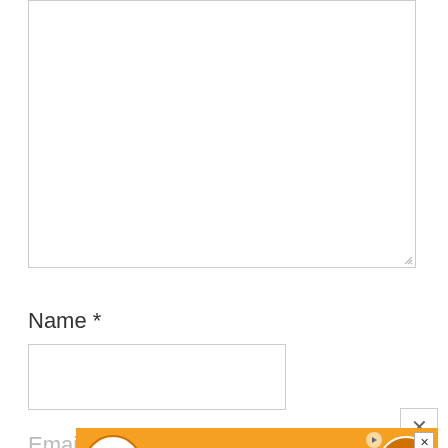[Figure (screenshot): Large empty comment text area input box with a resize handle in the bottom-right corner]
Name *
[Figure (screenshot): Empty name input text field]
Email *
[Figure (screenshot): Partially visible email input field with Hefty advertisement banner overlaid at the bottom: 'HEFTY STRONG, FABULOSO FRESH' with Fabuloso and Hefty logos, orange background, with a close (X) button]